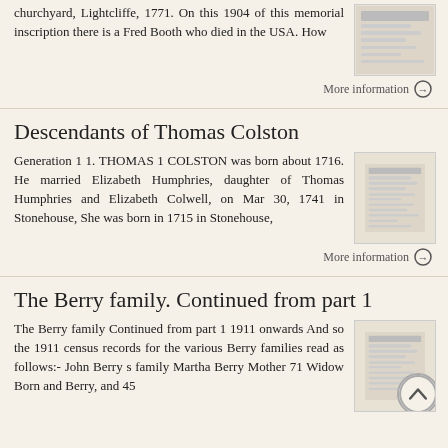churchyard, Lightcliffe, 1771. On this 1904 of this memorial inscription there is a Fred Booth who died in the USA. How
More information →
Descendants of Thomas Colston
Generation 1 1. THOMAS 1 COLSTON was born about 1716. He married Elizabeth Humphries, daughter of Thomas Humphries and Elizabeth Colwell, on Mar 30, 1741 in Stonehouse, She was born in 1715 in Stonehouse,
More information →
The Berry family. Continued from part 1
The Berry family Continued from part 1 1911 onwards And so the 1911 census records for the various Berry families read as follows:- John Berry s family Martha Berry Mother 71 Widow Born and Berry, and 45